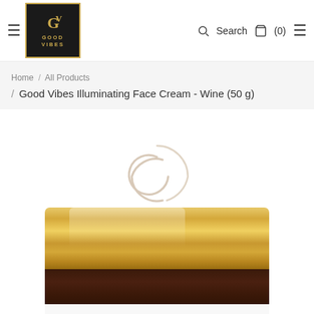[Figure (logo): Good Vibes brand logo — dark square border with gold 'GV' monogram and 'GOOD VIBES' text in gold on dark background]
≡  [Good Vibes Logo]  🔍 Search  🛒 (0)  ≡
Home / All Products
Good Vibes Illuminating Face Cream - Wine (50 g)
[Figure (illustration): Loading spinner (circular arc/swirl graphic) in light gray/beige tones]
[Figure (photo): Top portion of a Good Vibes Illuminating Face Cream jar showing a large gold metallic lid and dark brown glass/plastic jar body with white label strip at bottom]